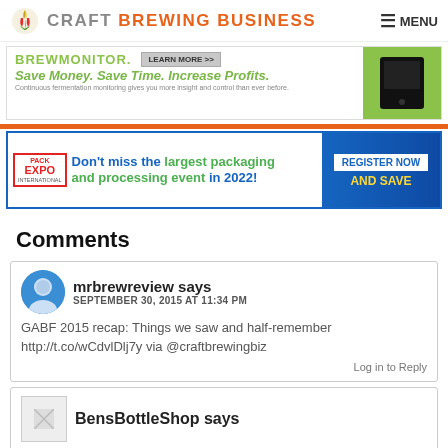CRAFT BREWING BUSINESS  MENU
[Figure (advertisement): BrewMonitor ad: Save Money. Save Time. Increase Profits. Continuous fermentation monitoring gives you more insight and control than ever before.]
[Figure (advertisement): Pack Expo International ad: Don't miss the largest packaging and processing event in 2022! Register Now and Save.]
Comments
mrbrewreview says
SEPTEMBER 30, 2015 AT 11:34 PM
GABF 2015 recap: Things we saw and half-remember http://t.co/wCdvlDlj7y via @craftbrewingbiz
Log in to Reply
BensBottleShop says